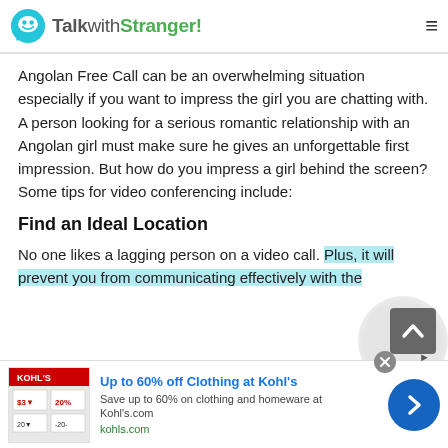TalkwithStranger!
Angolan Free Call can be an overwhelming situation especially if you want to impress the girl you are chatting with. A person looking for a serious romantic relationship with an Angolan girl must make sure he gives an unforgettable first impression. But how do you impress a girl behind the screen? Some tips for video conferencing include:
Find an Ideal Location
No one likes a lagging person on a video call. Plus, it will prevent you from communicating effectively with the
[Figure (screenshot): Advertisement banner for Kohl's: 'Up to 60% off Clothing at Kohl's', Save up to 60% on clothing and homeware at Kohl's.com, kohls.com]